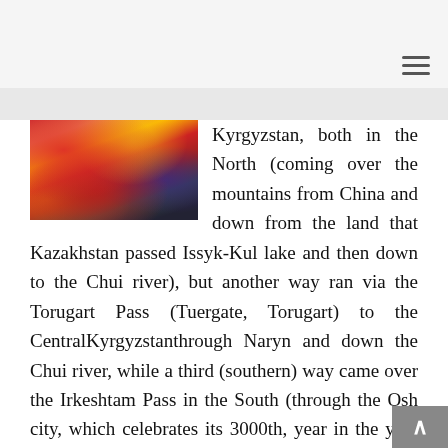[Figure (photo): Colorful traditional Kyrgyz textile or costume with vivid reds, yellows, blues and purples]
Kyrgyzstan, both in the North (coming over the mountains from China and down from the land that Kazakhstan passed Issyk-Kul lake and then down to the Chui river), but another way ran via the Torugart Pass (Tuergate, Torugart) to the CentralKyrgyzstanthrough Naryn and down the Chui river, while a third (southern) way came over the Irkeshtam Pass in the South (through the Osh city, which celebrates its 3000th, year in the year 2000).